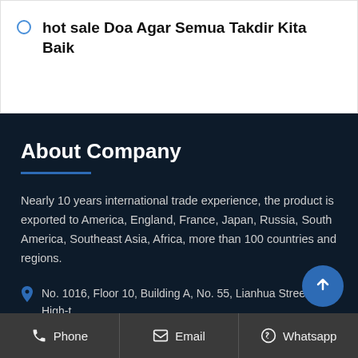hot sale Doa Agar Semua Takdir Kita Baik
About Company
Nearly 10 years international trade experience, the product is exported to America, England, France, Japan, Russia, South America, Southeast Asia, Africa, more than 100 countries and regions.
No. 1016, Floor 10, Building A, No. 55, Lianhua Street, High-t... IndustrialDevelopment Zone, Zhengzhou China
Phone  Email  Whatsapp